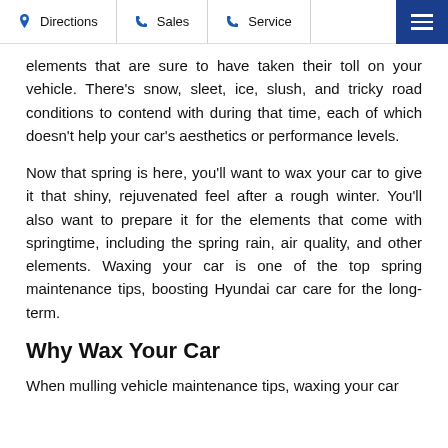Directions | Sales | Service
elements that are sure to have taken their toll on your vehicle. There's snow, sleet, ice, slush, and tricky road conditions to contend with during that time, each of which doesn't help your car's aesthetics or performance levels.
Now that spring is here, you'll want to wax your car to give it that shiny, rejuvenated feel after a rough winter. You'll also want to prepare it for the elements that come with springtime, including the spring rain, air quality, and other elements. Waxing your car is one of the top spring maintenance tips, boosting Hyundai car care for the long-term.
Why Wax Your Car
When mulling vehicle maintenance tips, waxing your car